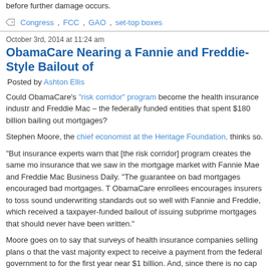before further damage occurs.
Congress, FCC, GAO, set-top boxes
October 3rd, 2014 at 11:24 am
ObamaCare Nearing a Fannie and Freddie-Style Bailout of
Posted by Ashton Ellis
Could ObamaCare's "risk corridor" program become the health insurance industr and Freddie Mac – the federally funded entities that spent $180 billion bailing out mortgages?
Stephen Moore, the chief economist at the Heritage Foundation, thinks so.
“But insurance experts warn that [the risk corridor] program creates the same mo insurance that we saw in the mortgage market with Fannie Mae and Freddie Mac Business Daily. “The guarantee on bad mortgages encouraged bad mortgages. T ObamaCare enrollees encourages insurers to toss sound underwriting standards out so well with Fannie and Freddie, which received a taxpayer-funded bailout of issuing subprime mortgages that should never have been written.”
Moore goes on to say that surveys of health insurance companies selling plans o that the vast majority expect to receive a payment from the federal government to for the first year near $1 billion. And, since there is no cap to how much the feds to how much money a company can lose and still expect a check from Uncle Sam
Despite all this, the Obama administration is chugging ahead with plans to make corridor program without explicit congressional appropriations. Republicans are c Obama's authority to do this – with an assist from a recent GAO legal opinion –